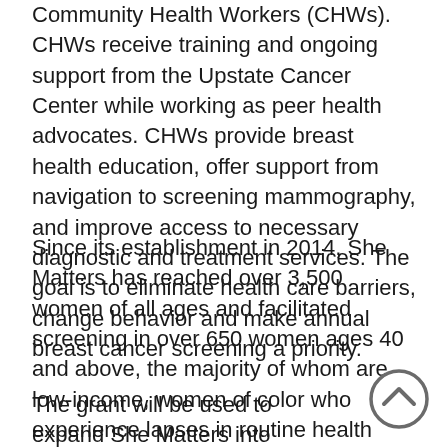Community Health Workers (CHWs). CHWs receive training and ongoing support from the Upstate Cancer Center while working as peer health advocates. CHWs provide breast health education, offer support from navigation to screening mammography, and improve access to necessary diagnostic and treatment services. The goal is to eliminate health care barriers, change behavior and make annual breast cancer screening a priority.
Since its establishment in 2014, She Matters has reached over 3,500 women of all ages and facilitated screening in over 650 women ages 40 and above, the majority of whom are low-income, women of color who experience lapses in routine health care services. At the same time, She Matters serves as a work readiness, skill development opportunity for women who serve as CHWs.
The grant will be used to expand She Matters into additional Syracuse Housing Authority residential communities to increase access to breast cancer